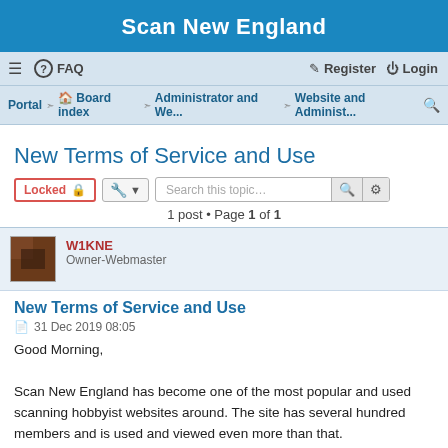Scan New England
≡  FAQ    Register  Login
Portal · Board index · Administrator and We... · Website and Administ...
New Terms of Service and Use
Locked  🔒   🔧 ▾   Search this topic…
1 post • Page 1 of 1
W1KNE
Owner-Webmaster
New Terms of Service and Use
31 Dec 2019 08:05
Good Morning,

Scan New England has become one of the most popular and used scanning hobbyist websites around. The site has several hundred members and is used and viewed even more than that.
Due to the ever increasing size in membership here at the site, and the ever growing aspect of the site, it was decided that we set some ground